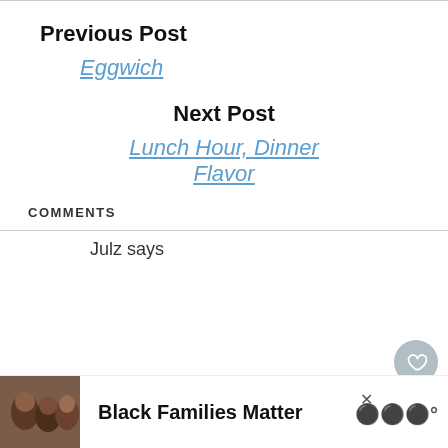Previous Post
Eggwich
Next Post
Lunch Hour, Dinner Flavor
COMMENTS
Julz says
[Figure (other): Advertisement banner: Black Families Matter with photo of people and logo]
[Figure (other): What's Next widget showing Shoulda Been A... with tree thumbnail]